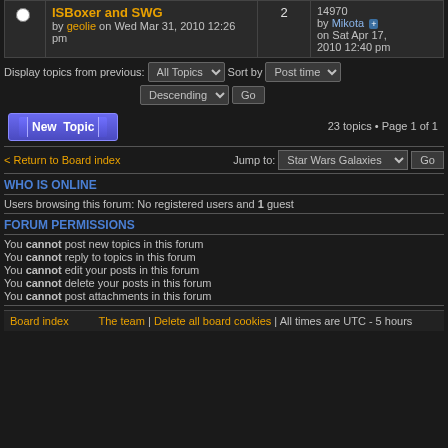|  | Topic | Replies | Last post |
| --- | --- | --- | --- |
|  | ISBoxer and SWG
by geolie on Wed Mar 31, 2010 12:26 pm | 2 | 14970
by Mikota on Sat Apr 17, 2010 12:40 pm |
Display topics from previous: All Topics  Sort by Post time  Descending  Go
New Topic  23 topics • Page 1 of 1
< Return to Board index  Jump to: Star Wars Galaxies  Go
WHO IS ONLINE
Users browsing this forum: No registered users and 1 guest
FORUM PERMISSIONS
You cannot post new topics in this forum
You cannot reply to topics in this forum
You cannot edit your posts in this forum
You cannot delete your posts in this forum
You cannot post attachments in this forum
Board index  The team | Delete all board cookies | All times are UTC - 5 hours